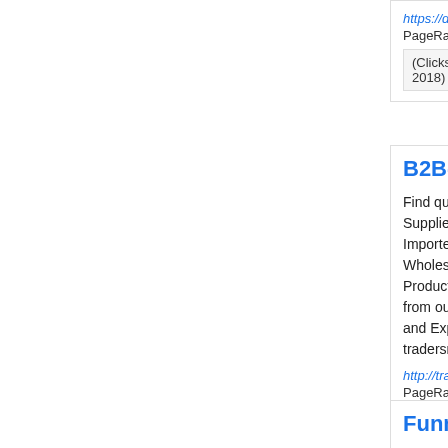https://dansme... PageRank: 0/10
(Clicks: 3; Ad... 2018)
B2B-Trad...
Find quality Suppliers, B... Importers, B... Wholesalers... Products an... from our Tra... and Export ... tradersmee...
http://tradersme... PageRank: 0/10
(Clicks: 2; Ad... 2014)
Funncafe...